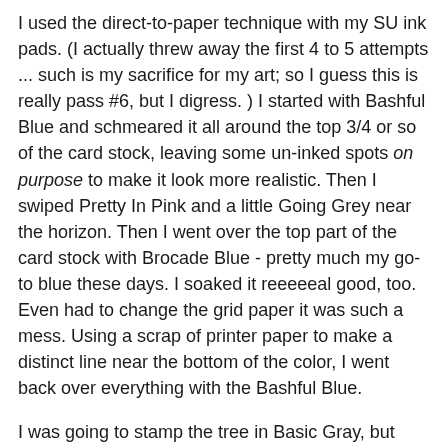I used the direct-to-paper technique with my SU ink pads. (I actually threw away the first 4 to 5 attempts ... such is my sacrifice for my art; so I guess this is really pass #6, but I digress. ) I started with Bashful Blue and schmeared it all around the top 3/4 or so of the card stock, leaving some un-inked spots on purpose to make it look more realistic. Then I swiped Pretty In Pink and a little Going Grey near the horizon. Then I went over the top part of the card stock with Brocade Blue - pretty much my go-to blue these days. I soaked it reeeeeal good, too. Even had to change the grid paper it was such a mess. Using a scrap of printer paper to make a distinct line near the bottom of the color, I went back over everything with the Bashful Blue.
I was going to stamp the tree in Basic Gray, but then I had a horrible thought: This stamp set retires effective January 4th, and my classes are not until the following weekend. You know what this means, right? It means I cannot use this stamp in my classes! ACK! All restrictions being off, I used Memento London Fog ink instead of SU Basic Gray. I am such a rebel.